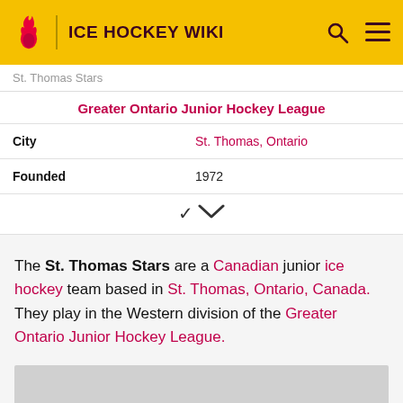ICE HOCKEY WIKI
St. Thomas Stars
| Greater Ontario Junior Hockey League |  |
| --- | --- |
| City | St. Thomas, Ontario |
| Founded | 1972 |
The St. Thomas Stars are a Canadian junior ice hockey team based in St. Thomas, Ontario, Canada. They play in the Western division of the Greater Ontario Junior Hockey League.
[Figure (other): Advertisement placeholder (gray box)]